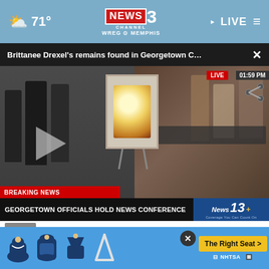☁ 71° | NEWS CHANNEL 3 WREG MEMPHIS | LIVE
Brittanee Drexel's remains found in Georgetown C…  ×
[Figure (screenshot): Live news conference video still showing officials standing near an easel with a portrait photo, and a press conference table on the right. LIVE badge and 01:59 PM timestamp visible. Breaking News bar: 'BREAKING NEWS'. Headline bar: 'GEORGETOWN OFFICIALS HOLD NEWS CONFERENCE'. News 13 logo badge on right.]
buying body parts
Brothers shoot, kill each other near
[Figure (infographic): NHTSA 'The Right Seat' car seat safety advertisement banner with child seat icons and yellow call-to-action button.]